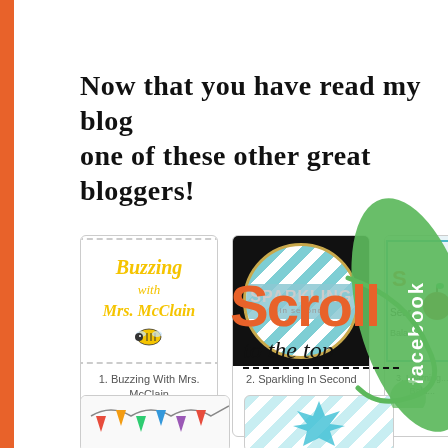Now that you have read my blog post, hop over and visit one of these other great bloggers!
[Figure (illustration): Blog thumbnail card for 'Buzzing With Mrs. McClain' showing yellow cursive text on white background with a bee illustration]
1. Buzzing With Mrs. McClain
[Figure (illustration): Blog thumbnail for 'Sparkling In Second' showing a teal chevron circle with text on black background]
2. Sparkling In Second
[Figure (illustration): Partially visible third blog thumbnail card]
[Figure (illustration): Facebook badge overlay on right side — green leaf/oval shape with 'facebook' text vertically]
[Figure (illustration): Scroll to the top overlay with orange 'Scroll' text and cursive 'to the top' below, with green vine decoration]